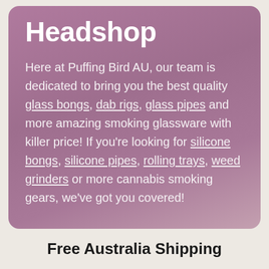Headshop
Here at Puffing Bird AU, our team is dedicated to bring you the best quality glass bongs, dab rigs, glass pipes and more amazing smoking glassware with killer price! If you're looking for silicone bongs, silicone pipes, rolling trays, weed grinders or more cannabis smoking gears, we've got you covered!
Free Australia Shipping
Puffing Bird provides free shipping for all orders in